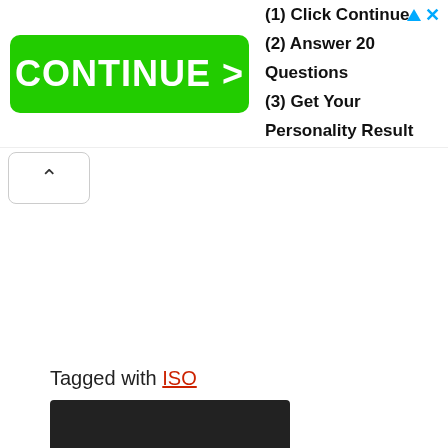[Figure (screenshot): Advertisement banner with green CONTINUE > button and steps: (1) Click Continue, (2) Answer 20 Questions, (3) Get Your Personality Result. Has a blue triangle and X close icon in top-right corner.]
[Figure (other): A collapse/hide button showing an upward caret (^) in a white rounded rectangle.]
Tagged with ISO